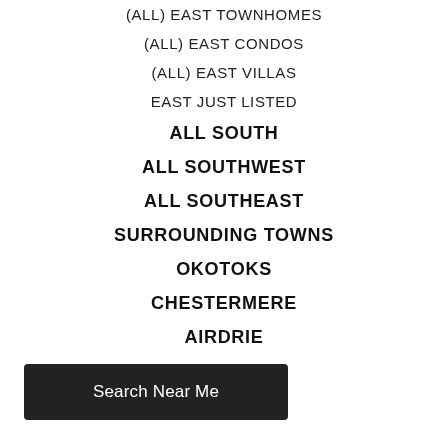(ALL) EAST TOWNHOMES
(ALL) EAST CONDOS
(ALL) EAST VILLAS
EAST JUST LISTED
ALL SOUTH
ALL SOUTHWEST
ALL SOUTHEAST
SURROUNDING TOWNS
OKOTOKS
CHESTERMERE
AIRDRIE
COCHRANE
NORTHWEST
Search Near Me